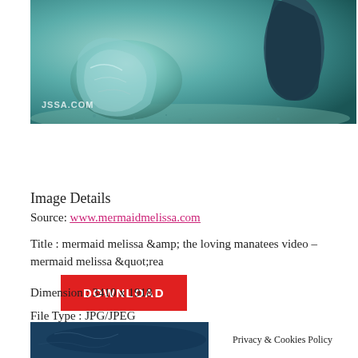[Figure (photo): Underwater photo showing mermaid tail or feet near sandy ocean floor, with JSSA.COM watermark visible]
DOWNLOAD
Image Details
Source: www.mermaidmelissa.com
Title : mermaid melissa &amp;amp; the loving manatees video – mermaid melissa &amp;quot;rea
Dimension : 3410 x 1918
File Type : JPG/JPEG
[Figure (photo): Underwater photo (bottom portion) with Privacy & Cookies Policy overlay box]